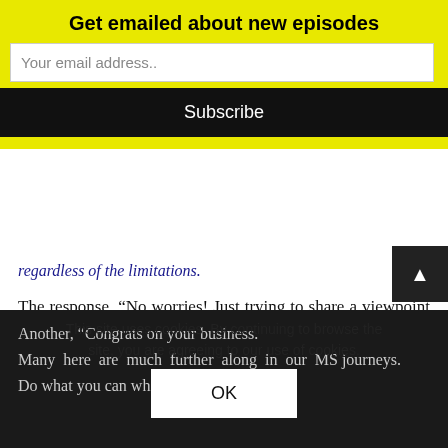Get emailed about new episodes
Your email address..
Subscribe
regardless of the limitations.
The response, “No worries! Just trying to share a viewpoint from the other perspective. A lot of people with MS get forgotten.”
And another person responds, “Thank you for posting. These were my thoughts exactly. Your running a marathon with MS is my getting out of bed.”
Another, “Congrats on your business. Many here are much further along in our MS journeys.
Do what you can whi…
This site uses cookies. By continuing to browse the site, you are agreeing to our use of cookies.
OK